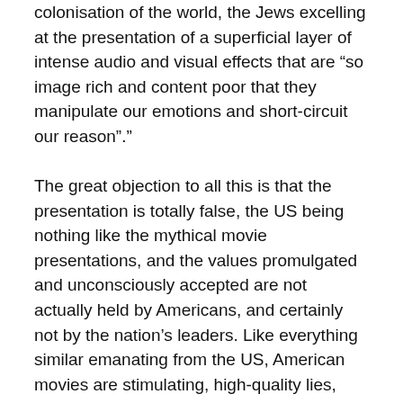colonisation of the world, the Jews excelling at the presentation of a superficial layer of intense audio and visual effects that are “so image rich and content poor that they manipulate our emotions and short-circuit our reason”.”
The great objection to all this is that the presentation is totally false, the US being nothing like the mythical movie presentations, and the values promulgated and unconsciously accepted are not actually held by Americans, and certainly not by the nation’s leaders. Like everything similar emanating from the US, American movies are stimulating, high-quality lies, which is why many nations restrict American content.
All of the above, radio, television, newspapers, magazines, the advertising industry, Hollywood movies